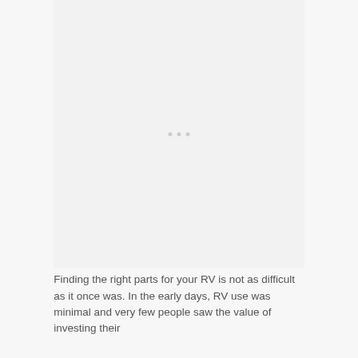[Figure (photo): Large image placeholder area with a light gray background, appearing as a mostly blank/loading image region with three small dots centered, indicating an image carousel or loading state.]
Finding the right parts for your RV is not as difficult as it once was. In the early days, RV use was minimal and very few people saw the value of investing their